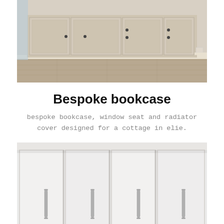[Figure (photo): Interior photo of bespoke fitted cabinets and window seat in cream/beige color with dark knob hardware, wooden floor visible, white walls.]
Bespoke bookcase
bespoke bookcase, window seat and radiator cover designed for a cottage in elie.
[Figure (photo): Interior photo of modern fitted wardrobe with flat white doors and long silver bar handles, light grey/white finish.]